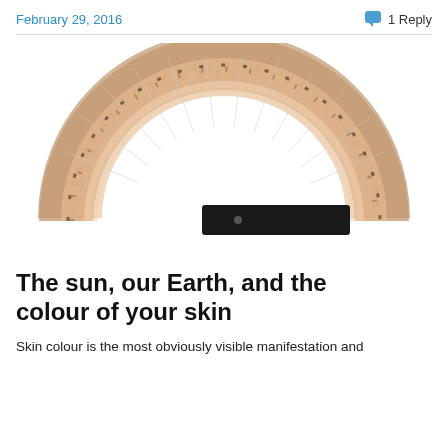February 29, 2016
1 Reply
[Figure (photo): A semicircular folding fan opened flat, showing skin-tone colored photographic images on the individual fan blades arranged in a half-circle. The fan has a black rectangular handle/base at the bottom center. Background is white.]
The sun, our Earth, and the colour of your skin
Skin colour is the most obviously visible manifestation and